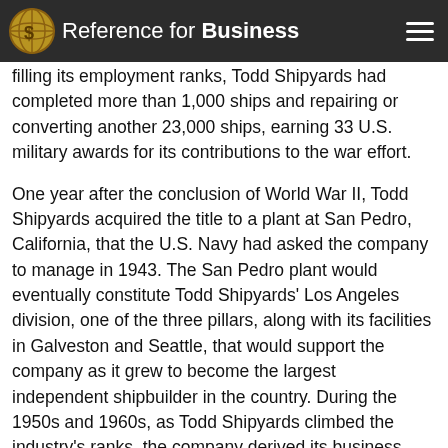Reference for Business
filling its employment ranks, Todd Shipyards had completed more than 1,000 ships and repairing or converting another 23,000 ships, earning 33 U.S. military awards for its contributions to the war effort.
One year after the conclusion of World War II, Todd Shipyards acquired the title to a plant at San Pedro, California, that the U.S. Navy had asked the company to manage in 1943. The San Pedro plant would eventually constitute Todd Shipyards' Los Angeles division, one of the three pillars, along with its facilities in Galveston and Seattle, that would support the company as it grew to become the largest independent shipbuilder in the country. During the 1950s and 1960s, as Todd Shipyards climbed the industry's ranks, the company derived its business from both civilian and military contracts, building its annual revenue total to approximately $175 million by the beginning of the 1970s.
An overwhelming majority of the company's business by the early 1970s was derived from the private sector, with government-funded contracts accounting for a mere 15